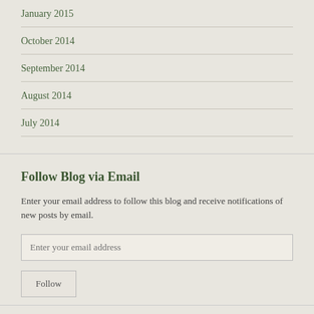January 2015
October 2014
September 2014
August 2014
July 2014
Follow Blog via Email
Enter your email address to follow this blog and receive notifications of new posts by email.